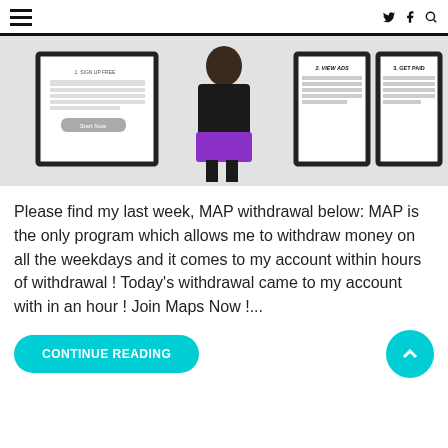≡
[Figure (photo): A person in a black top and purple skirt standing in front of three framed posters on a white wall. The posters describe steps: '2. VIEW ADS' and '3. GET PAID' are visible along with a 'Start Now' button.]
Please find my last week, MAP withdrawal below: MAP is the only program which allows me to withdraw money on all the weekdays and it comes to my account within hours of withdrawal ! Today's withdrawal came to my account with in an hour ! Join Maps Now !...
CONTINUE READING